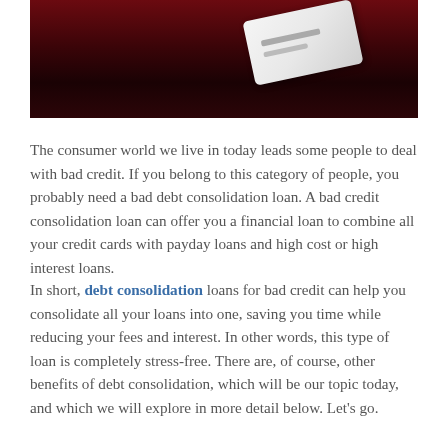[Figure (photo): Close-up photo of a credit card resting on a red textured surface, likely roses or fabric, with dark moody lighting.]
The consumer world we live in today leads some people to deal with bad credit. If you belong to this category of people, you probably need a bad debt consolidation loan. A bad credit consolidation loan can offer you a financial loan to combine all your credit cards with payday loans and high cost or high interest loans.
In short, debt consolidation loans for bad credit can help you consolidate all your loans into one, saving you time while reducing your fees and interest. In other words, this type of loan is completely stress-free. There are, of course, other benefits of debt consolidation, which will be our topic today, and which we will explore in more detail below. Let’s go.